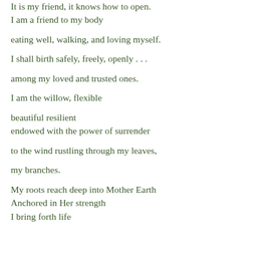It is my friend, it knows how to open.
I am a friend to my body
eating well, walking, and loving myself.
I shall birth safely, freely, openly . . .
among my loved and trusted ones.
I am the willow, flexible
beautiful resilient
endowed with the power of surrender
to the wind rustling through my leaves,
my branches.
My roots reach deep into Mother Earth
Anchored in Her strength
I bring forth life